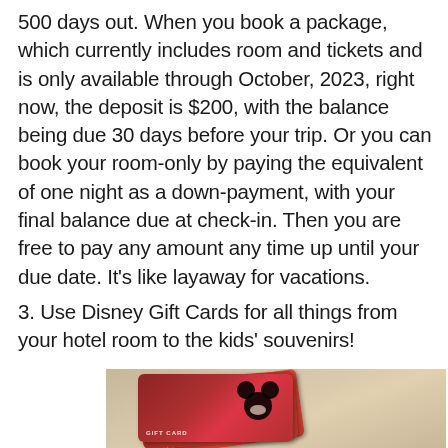500 days out. When you book a package, which currently includes room and tickets and is only available through October, 2023, right now, the deposit is $200, with the balance being due 30 days before your trip. Or you can book your room-only by paying the equivalent of one night as a down-payment, with your final balance due at check-in. Then you are free to pay any amount any time up until your due date. It's like layaway for vacations.
3. Use Disney Gift Cards for all things from your hotel room to the kids' souvenirs!
[Figure (photo): Stack of Disney Gift Cards with Mickey Mouse design, red cards fanned out on a wooden surface]